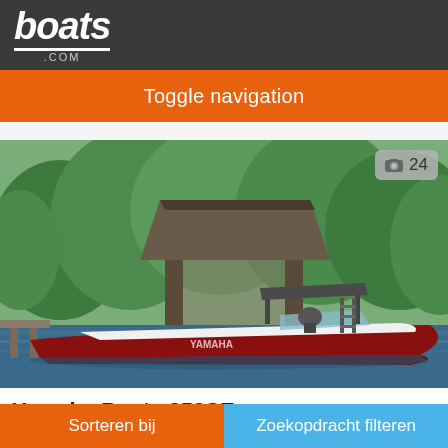boats.com
Toggle navigation
[Figure (photo): A red and white Yamaha speedboat docked near a wooden boat house surrounded by green trees on a lake.]
Yamaha Boats 252SE
Nieuw Florida Yamaha Stor...
Sorteren bij
Zoekopdracht filteren